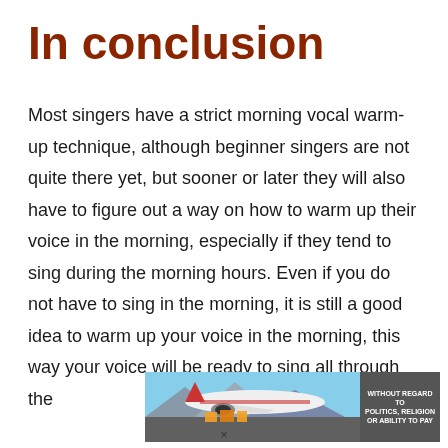In conclusion
Most singers have a strict morning vocal warm-up technique, although beginner singers are not quite there yet, but sooner or later they will also have to figure out a way on how to warm up their voice in the morning, especially if they tend to sing during the morning hours. Even if you do not have to sing in the morning, it is still a good idea to warm up your voice in the morning, this way your voice will be ready to sing all through the
[Figure (photo): Advertisement banner showing cargo being loaded onto a Southwest Airlines aircraft. Text overlay reads 'WITHOUT REGARD TO POLITICS, RELIGION OR ABILITY TO PAY']
×